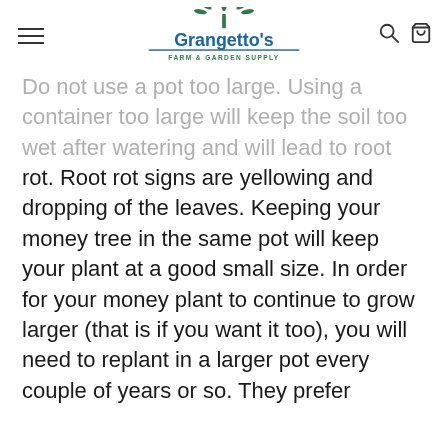Grangetto's Farm & Garden Supply
Do not use a pot too large. Using a container too large will keep the soil too wet after watering and will lead to root rot. Root rot signs are yellowing and dropping of the leaves. Keeping your money tree in the same pot will keep your plant at a good small size. In order for your money plant to continue to grow larger (that is if you want it too), you will need to replant in a larger pot every couple of years or so. They prefer